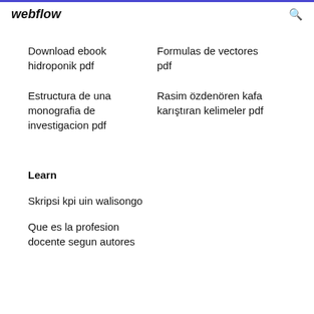webflow
Download ebook hidroponik pdf
Formulas de vectores pdf
Estructura de una monografia de investigacion pdf
Rasim özdenören kafa karıştıran kelimeler pdf
Learn
Skripsi kpi uin walisongo
Que es la profesion docente segun autores